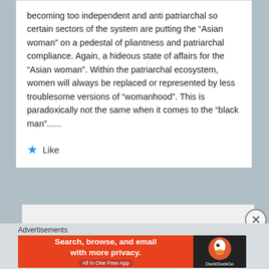becoming too independent and anti patriarchal so certain sectors of the system are putting the “Asian woman” on a pedestal of pliantness and patriarchal compliance. Again, a hideous state of affairs for the “Asian woman”. Within the patriarchal ecosystem, women will always be replaced or represented by less troublesome versions of “womanhood”. This is paradoxically not the same when it comes to the “black man”......
★ Like
Advertisements
[Figure (infographic): DuckDuckGo advertisement banner: orange background on left with text 'Search, browse, and email with more privacy. All in One Free App', dark background on right with DuckDuckGo logo and text.]